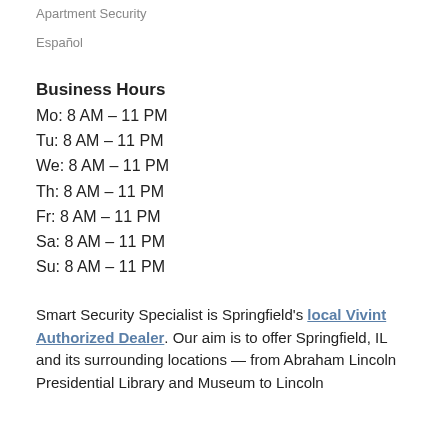Apartment Security
Español
Business Hours
Mo: 8 AM – 11 PM
Tu: 8 AM – 11 PM
We: 8 AM – 11 PM
Th: 8 AM – 11 PM
Fr: 8 AM – 11 PM
Sa: 8 AM – 11 PM
Su: 8 AM – 11 PM
Smart Security Specialist is Springfield's local Vivint Authorized Dealer. Our aim is to offer Springfield, IL and its surrounding locations — from Abraham Lincoln Presidential Library and Museum to Lincoln